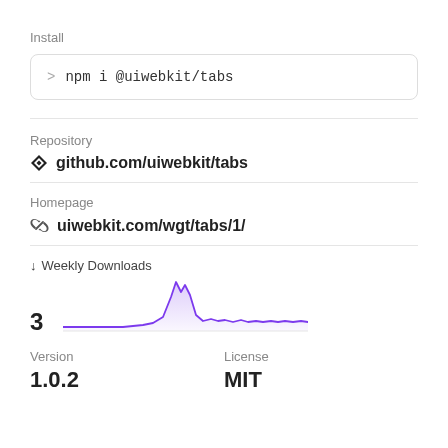Install
> npm i @uiwebkit/tabs
Repository
github.com/uiwebkit/tabs
Homepage
uiwebkit.com/wgt/tabs/1/
↓ Weekly Downloads
3
[Figure (line-chart): Line chart showing weekly downloads over time with a spike reaching high peak then settling at low baseline around 3]
Version
1.0.2
License
MIT